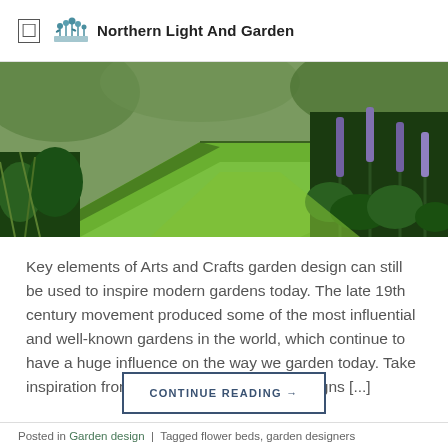Northern Light And Garden
[Figure (photo): A lush garden scene showing a manicured green lawn path flanked by dense plantings including tall spiky purple flowers (likely veronicastrum or agastache), ornamental grasses, and various perennial plants in shades of green and purple.]
Key elements of Arts and Crafts garden design can still be used to inspire modern gardens today. The late 19th century movement produced some of the most influential and well-known gardens in the world, which continue to have a huge influence on the way we garden today. Take inspiration from arts and crafts garden designs [...]
CONTINUE READING →
Posted in Garden design  |  Tagged flower beds, garden designers